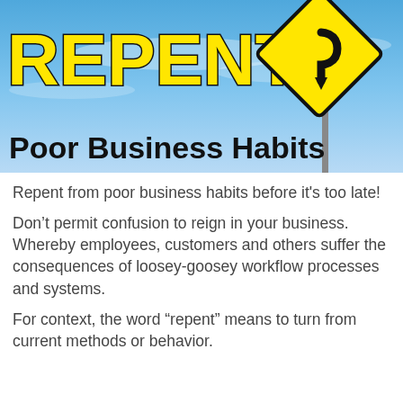[Figure (illustration): Image showing a yellow road sign with 'REPENT' text and a U-turn arrow sign against a blue sky background, with bold text 'Poor Business Habits' overlaid at the bottom]
Repent from poor business habits before it's too late!
Don't permit confusion to reign in your business. Whereby employees, customers and others suffer the consequences of loosey-goosey workflow processes and systems.
For context, the word “repent” means to turn from current methods or behavior.